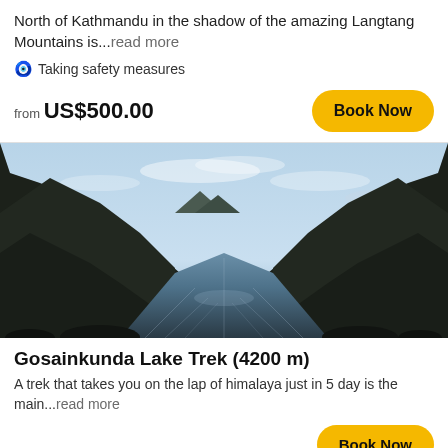North of Kathmandu in the shadow of the amazing Langtang Mountains is...read more
🧿 Taking safety measures
from US$500.00
[Figure (photo): A mountain lake reflecting the sky and surrounding rocky hills, with dark mountain slopes on either side converging to a vanishing point in the distance.]
Gosainkunda Lake Trek (4200 m)
A trek that takes you on the lap of himalaya just in 5 day is the main...read more